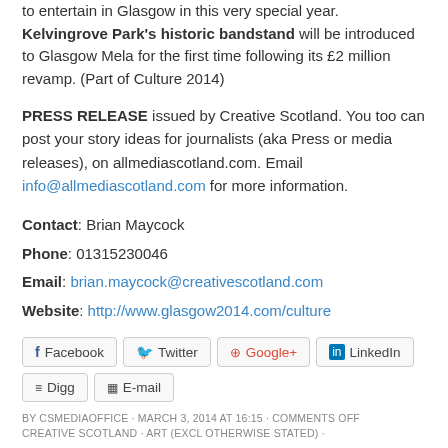to entertain in Glasgow in this very special year. Kelvingrove Park's historic bandstand will be introduced to Glasgow Mela for the first time following its £2 million revamp. (Part of Culture 2014)
PRESS RELEASE issued by Creative Scotland. You too can post your story ideas for journalists (aka Press or media releases), on allmediascotland.com. Email info@allmediascotland.com for more information.
Contact: Brian Maycock
Phone: 01315230046
Email: brian.maycock@creativescotland.com
Website: http://www.glasgow2014.com/culture
[Figure (infographic): Social sharing buttons: Facebook, Twitter, Google+, LinkedIn, Digg, E-mail]
BY CSMEDIAOFFICE · MARCH 3, 2014 AT 16:15 · COMMENTS OFF
CREATIVE SCOTLAND · ART (EXCL OTHERWISE STATED) ·
RELATED POSTS